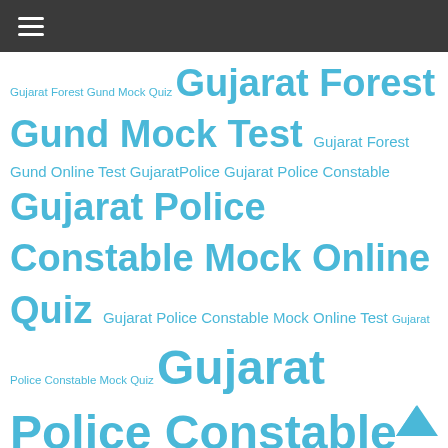☰
Gujarat Forest Gund Mock Quiz Gujarat Forest Gund Mock Test Gujarat Forest Gund Online Test GujaratPolice Gujarat Police Constable Gujarat Police Constable Mock Online Quiz Gujarat Police Constable Mock Online Test Gujarat Police Constable Mock Quiz Gujarat Police Constable Mock Test Gujarat Police Constable Model Paper Gujarat Police Constable Online Quiz Gujarat Police Constable Online Test Gujarat Police Constable Quiz Gujarat Police Forest Bin Sachivalay Quiz health Health Tips Job Updat Job Update Luxury homes Maru Gujarat MaruGujarat Maru Gujarat 24 Marugujarat24.info Maru Gujarat Quiz Nevy Job Update New Job Police Constable Mock Test Police